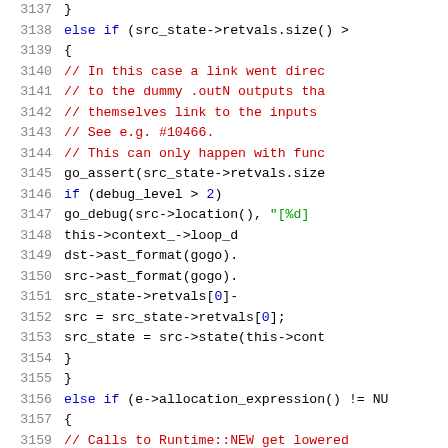[Figure (screenshot): Source code listing showing C++ code lines 3137-3159 with syntax highlighting. Line numbers in grey on the left, comments in red, strings in green, keywords in blue, regular code in black.]